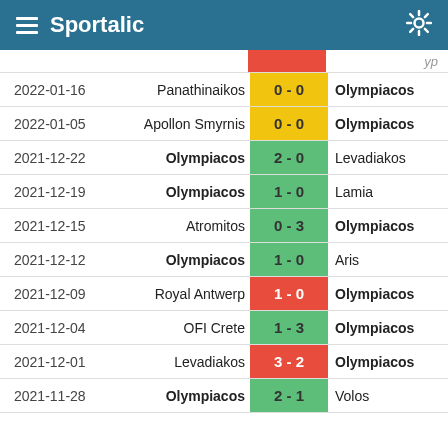Sportalic
| Date | Home | Score | Away |
| --- | --- | --- | --- |
| 2022-01-16 | Panathinaikos | 0 - 0 | Olympiacos |
| 2022-01-05 | Apollon Smyrnis | 0 - 0 | Olympiacos |
| 2021-12-22 | Olympiacos | 2 - 0 | Levadiakos |
| 2021-12-19 | Olympiacos | 1 - 0 | Lamia |
| 2021-12-15 | Atromitos | 0 - 3 | Olympiacos |
| 2021-12-12 | Olympiacos | 1 - 0 | Aris |
| 2021-12-09 | Royal Antwerp | 1 - 0 | Olympiacos |
| 2021-12-04 | OFI Crete | 1 - 3 | Olympiacos |
| 2021-12-01 | Levadiakos | 3 - 2 | Olympiacos |
| 2021-11-28 | Olympiacos | 2 - 1 | Volos |